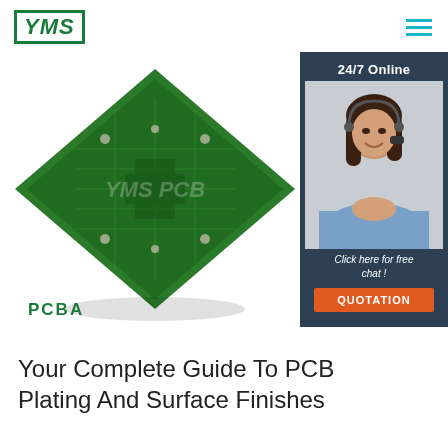YMS logo and navigation
[Figure (photo): Green PCB circuit board shown at a diamond angle with 'YMS PCB' watermark, labeled 'PCBA' below, alongside a 24/7 online chat panel with a customer service agent and a QUOTATION button]
Your Complete Guide To PCB Plating And Surface Finishes